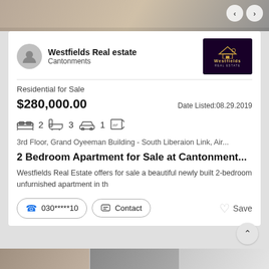[Figure (photo): Top image bar showing property/interior photo background with navigation arrows]
Westfields Real estate
Cantonments
[Figure (logo): Westfields Real Estate logo — dark purple background with gold house icon and 'Westfields REAL ESTATE' text]
Residential for Sale
$280,000.00
Date Listed:08.29.2019
2  3  1  [m²]
3rd Floor, Grand Oyeeman Building - South Liberaion Link, Air...
2 Bedroom Apartment for Sale at Cantonment...
Westfields Real Estate offers for sale a beautiful newly built 2-bedroom unfurnished apartment in th
030*****10
Contact
Save